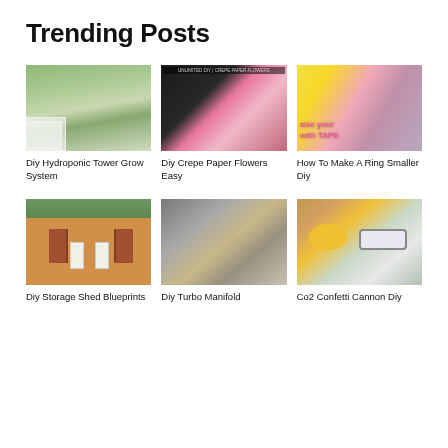Trending Posts
[Figure (photo): DIY hydroponic tower grow system with vertical PVC pipes and plants in a greenhouse]
[Figure (photo): DIY crepe paper flowers tutorial collage showing materials and steps]
[Figure (photo): How to make a ring smaller DIY with tape tutorial thumbnail]
Diy Hydroponic Tower Grow System
Diy Crepe Paper Flowers Easy
How To Make A Ring Smaller Diy
[Figure (photo): DIY storage shed blueprints showing a small orange shed with green metal roof]
[Figure (photo): DIY turbo manifold showing metallic pipes and fittings]
[Figure (photo): Co2 confetti cannon DIY project with yellow caps and white tube on wooden surface]
Diy Storage Shed Blueprints
Diy Turbo Manifold
Co2 Confetti Cannon Diy